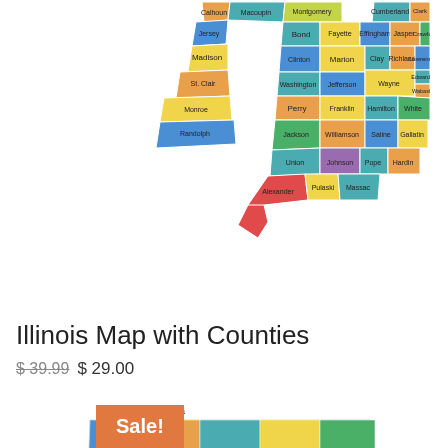[Figure (map): Colorful Illinois county map showing southern counties including Madison, St. Clair, Monroe, Randolph, Perry, Jackson, Union, Alexander, Pulaski, and others in various colors]
Illinois Map with Counties
$ 39.99  $ 29.00
[Figure (map): Partial Montana map with orange Sale! badge overlay]